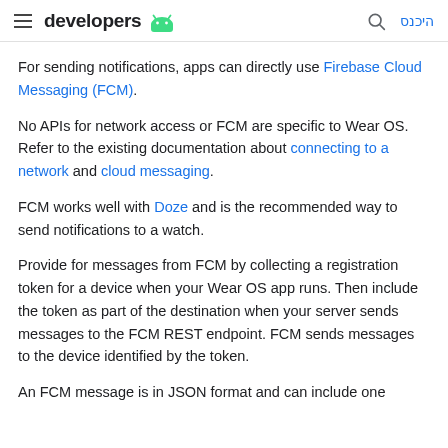developers [android logo] | [search icon] היכנס
For sending notifications, apps can directly use Firebase Cloud Messaging (FCM).
No APIs for network access or FCM are specific to Wear OS. Refer to the existing documentation about connecting to a network and cloud messaging.
FCM works well with Doze and is the recommended way to send notifications to a watch.
Provide for messages from FCM by collecting a registration token for a device when your Wear OS app runs. Then include the token as part of the destination when your server sends messages to the FCM REST endpoint. FCM sends messages to the device identified by the token.
An FCM message is in JSON format and can include one